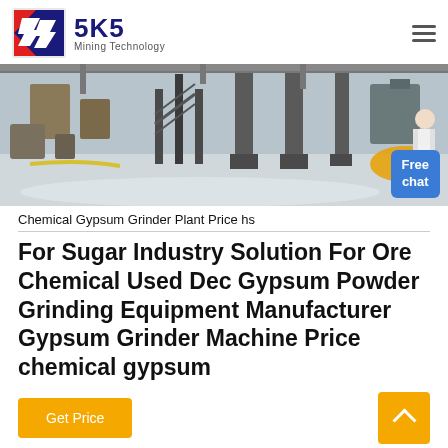[Figure (logo): SKS Mining Technology logo with stylized red and blue S icon and bold text]
[Figure (photo): Industrial factory interior showing large machinery, structural steel columns, and a worker in a white lab coat on the right side. A 'Free chat' button overlay appears at bottom right.]
Chemical Gypsum Grinder Plant Price hs
For Sugar Industry Solution For Ore Chemical Used Dec Gypsum Powder Grinding Equipment Manufacturer Gypsum Grinder Machine Price chemical gypsum